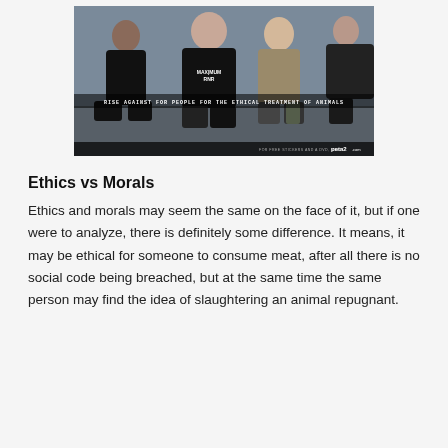[Figure (photo): Photo of four young men sitting/standing against a wall, with 'MAXIMUM RNR' text on a shirt. Caption reads 'RISE AGAINST FOR PEOPLE FOR THE ETHICAL TREATMENT OF ANIMALS' and peta2.com branding at bottom.]
Ethics vs Morals
Ethics and morals may seem the same on the face of it, but if one were to analyze, there is definitely some difference. It means, it may be ethical for someone to consume meat, after all there is no social code being breached, but at the same time the same person may find the idea of slaughtering an animal repugnant.